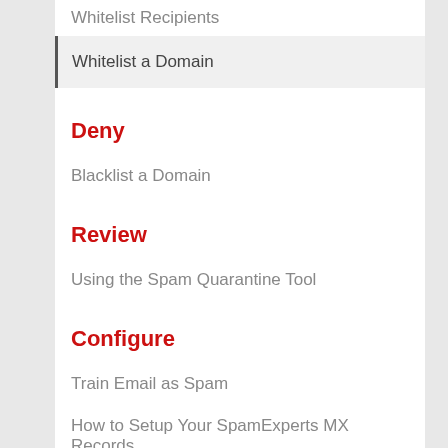Whitelist Recipients
Whitelist a Domain
Deny
Blacklist a Domain
Review
Using the Spam Quarantine Tool
Configure
Train Email as Spam
How to Setup Your SpamExperts MX Records
Train Spam Experts - Email Not Spam